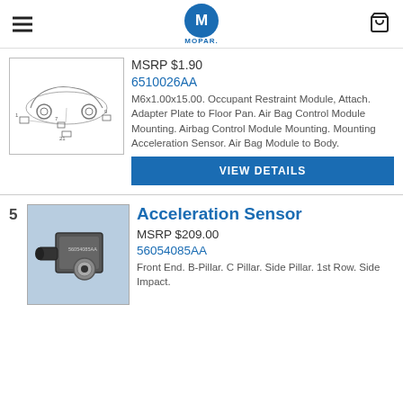MOPAR
[Figure (illustration): Technical line drawing of a car with labeled parts for airbag/restraint system components]
MSRP $1.90
6510026AA
M6x1.00x15.00. Occupant Restraint Module, Attach. Adapter Plate to Floor Pan. Air Bag Control Module Mounting. Airbag Control Module Mounting. Mounting Acceleration Sensor. Air Bag Module to Body.
VIEW DETAILS
5
[Figure (photo): Photo of an acceleration sensor part on blue background]
Acceleration Sensor
MSRP $209.00
56054085AA
Front End. B-Pillar. C Pillar. Side Pillar. 1st Row. Side Impact.